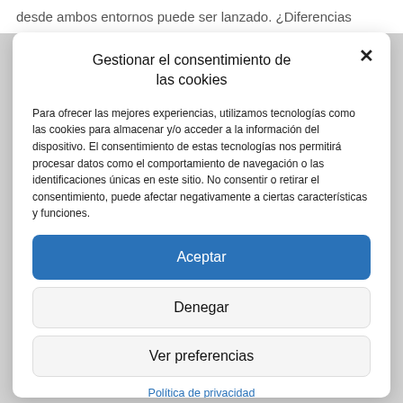desde ambos entornos puede ser lanzado. ¿Diferencias
Gestionar el consentimiento de las cookies
Para ofrecer las mejores experiencias, utilizamos tecnologías como las cookies para almacenar y/o acceder a la información del dispositivo. El consentimiento de estas tecnologías nos permitirá procesar datos como el comportamiento de navegación o las identificaciones únicas en este sitio. No consentir o retirar el consentimiento, puede afectar negativamente a ciertas características y funciones.
Aceptar
Denegar
Ver preferencias
Política de privacidad